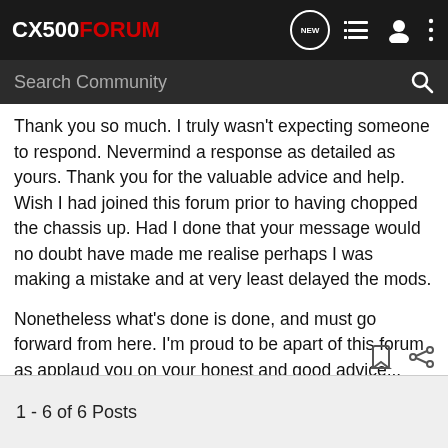CX500FORUM
Thank you so much. I truly wasn't expecting someone to respond. Nevermind a response as detailed as yours. Thank you for the valuable advice and help. Wish I had joined this forum prior to having chopped the chassis up. Had I done that your message would no doubt have made me realise perhaps I was making a mistake and at very least delayed the mods.
Nonetheless what's done is done, and must go forward from here. I'm proud to be apart of this forum as applaud you on your honest and good advice...
1 - 6 of 6 Posts